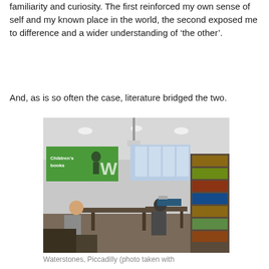familiarity and curiosity. The first reinforced my own sense of self and my known place in the world, the second exposed me to difference and a wider understanding of 'the other'.
And, as is so often the case, literature bridged the two.
[Figure (photo): Interior of Waterstones Piccadilly bookshop, showing a children's section with a large green display screen reading 'Children's books', bookshelves, tables, and people browsing.]
Waterstones, Piccadilly (photo taken with